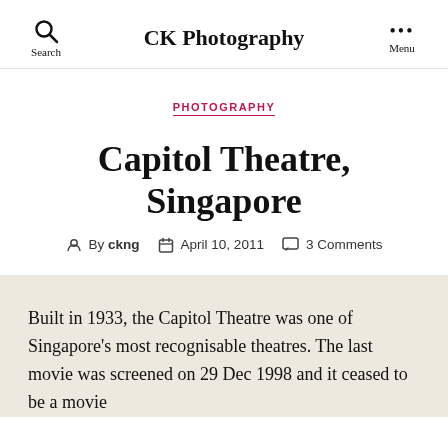CK Photography
PHOTOGRAPHY
Capitol Theatre, Singapore
By ckng   April 10, 2011   3 Comments
Built in 1933, the Capitol Theatre was one of Singapore's most recognisable theatres. The last movie was screened on 29 Dec 1998 and it ceased to be a movie